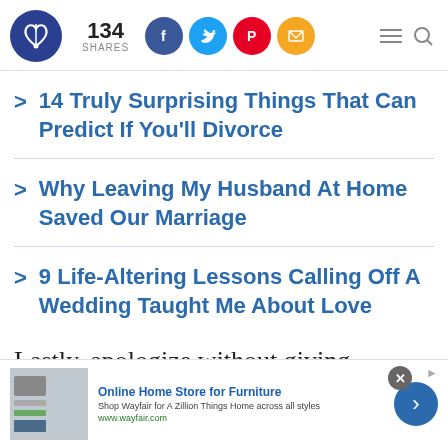134 SHARES [social icons: Facebook, Twitter, Pinterest, Email] [hamburger menu, search icon]
> 14 Truly Surprising Things That Can Predict If You'll Divorce
> Why Leaving My Husband At Home Saved Our Marriage
> 9 Life-Altering Lessons Calling Off A Wedding Taught Me About Love
Lastly, apologize without giving excuses
[Figure (screenshot): Wayfair advertisement: Online Home Store for Furniture. Shop Wayfair for A Zillion Things Home across all styles. www.wayfair.com]